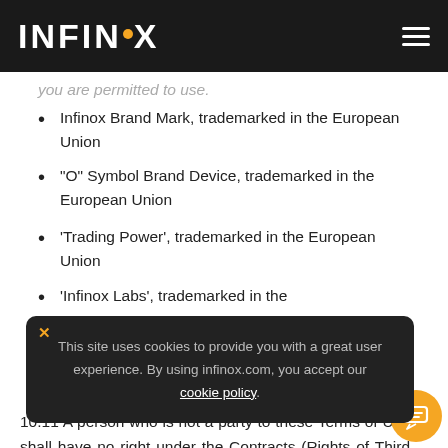INFINOX
you are permitted to use.
Infinox Brand Mark, trademarked in the European Union
“O” Symbol Brand Device, trademarked in the European Union
‘Trading Power’, trademarked in the European Union
‘Infinox Labs’, trademarked in the European Union
This site uses cookies to provide you with a great user experience. By using infinox.com, you accept our cookie policy.
European Union
10.11 A person who is not a party to these Terms of Use shall have no right under the Contracts (Rights of Third Parties) Act 1999 to